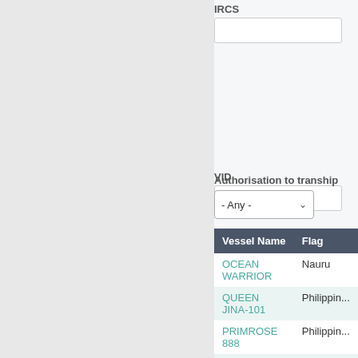IRCS
VID
Authorisation to tranship
| Vessel Name | Flag |
| --- | --- |
| OCEAN WARRIOR | Nauru |
| QUEEN JINA-101 | Philippines |
| PRIMROSE 888 | Philippines |
| SOLANDER VI | Fiji |
| OCEAN EXPEDITION | Nauru |